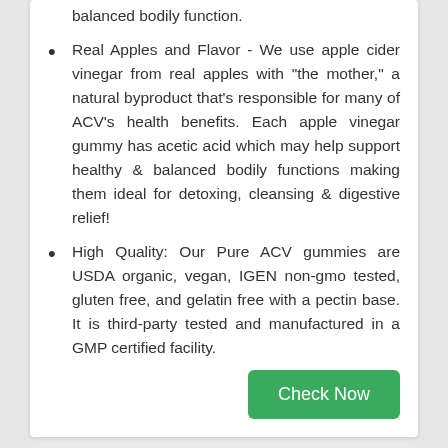balanced bodily function.
Real Apples and Flavor - We use apple cider vinegar from real apples with "the mother," a natural byproduct that's responsible for many of ACV's health benefits. Each apple vinegar gummy has acetic acid which may help support healthy & balanced bodily functions making them ideal for detoxing, cleansing & digestive relief!
High Quality: Our Pure ACV gummies are USDA organic, vegan, IGEN non-gmo tested, gluten free, and gelatin free with a pectin base. It is third-party tested and manufactured in a GMP certified facility.
Check Now
RECOMMENDATION NO. 10
[Figure (other): Bottom of recommendation card, partially visible]